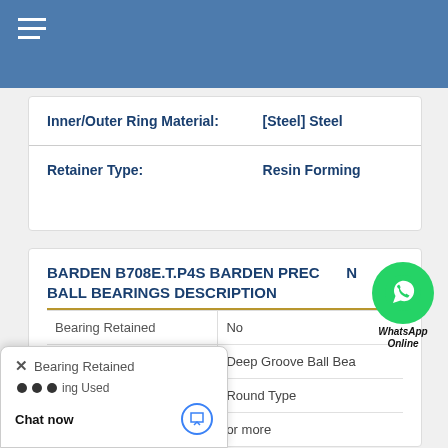Navigation menu
| Property | Value |
| --- | --- |
| Inner/Outer Ring Material: | [Steel] Steel |
| Retainer Type: | Resin Forming |
BARDEN B708E.T.P4S BARDEN PRECISION BALL BEARINGS DESCRIPTION
| Property | Value |
| --- | --- |
| Bearing Retained | No |
| Bearing Used | Deep Groove Ball Bea |
| Flange Shape | Round Type |
|  | or more |
[Figure (other): WhatsApp Online chat button with green phone icon and italic text 'WhatsApp Online']
Chat now